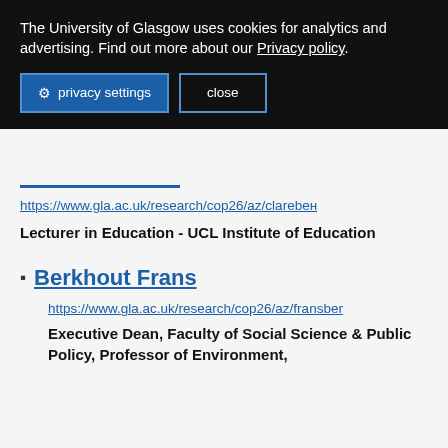The University of Glasgow uses cookies for analytics and advertising. Find out more about our Privacy policy.
privacy settings  close
https://www.gla.ac.uk/research/cop26/az/clarebен...
Lecturer in Education - UCL Institute of Education
Berkhout Frans
https://www.gla.ac.uk/research/cop26/az/fransber...
Executive Dean, Faculty of Social Science & Public Policy, Professor of Environment, Society and Climate, Kings College London